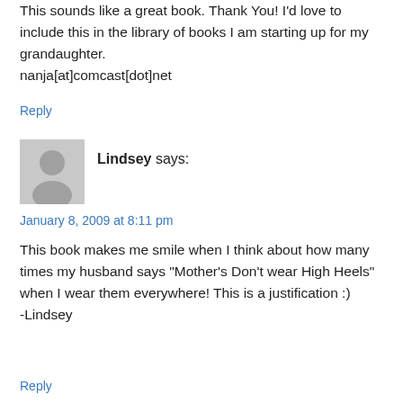This sounds like a great book. Thank You! I'd love to include this in the library of books I am starting up for my grandaughter.
nanja[at]comcast[dot]net
Reply
[Figure (illustration): Grey avatar silhouette icon of a person]
Lindsey says:
January 8, 2009 at 8:11 pm
This book makes me smile when I think about how many times my husband says "Mother's Don't wear High Heels" when I wear them everywhere! This is a justification :)
-Lindsey
Reply